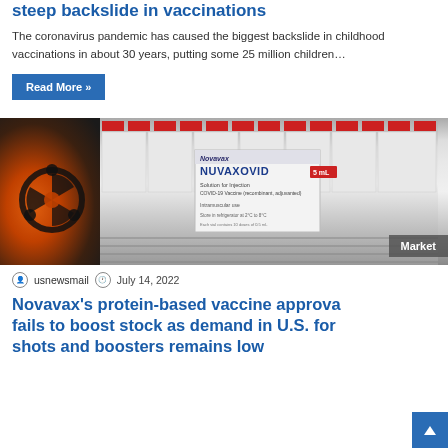steep backslide in vaccinations
The coronavirus pandemic has caused the biggest backslide in childhood vaccinations in about 30 years, putting some 25 million children…
Read More »
[Figure (photo): Photo of NUVAXOVID COVID-19 vaccine boxes stacked on a shelf with a biohazard symbol visible on the left. A red 'Market' badge appears in the lower right corner.]
usnewsmail  July 14, 2022
Novavax's protein-based vaccine approval fails to boost stock as demand in U.S. for shots and boosters remains low